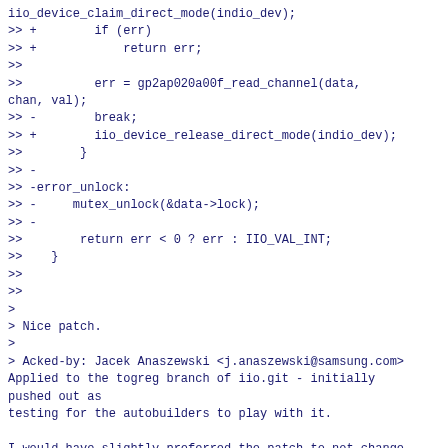iio_device_claim_direct_mode(indio_dev);
>> +        if (err)
>> +            return err;
>>
>>          err = gp2ap020a00f_read_channel(data, chan, val);
>> -        break;
>> +        iio_device_release_direct_mode(indio_dev);
>>        }
>> -
>> -error_unlock:
>> -     mutex_unlock(&data->lock);
>> -
>>        return err < 0 ? err : IIO_VAL_INT;
>>    }
>>
>>
>
> Nice patch.
>
> Acked-by: Jacek Anaszewski <j.anaszewski@samsung.com>
Applied to the togreg branch of iio.git - initially pushed out as
testing for the autobuilders to play with it.

I would have slightly preferred the patch to not change the
case to an if (as really a slightly separate cleanup from
the main target of the patch)